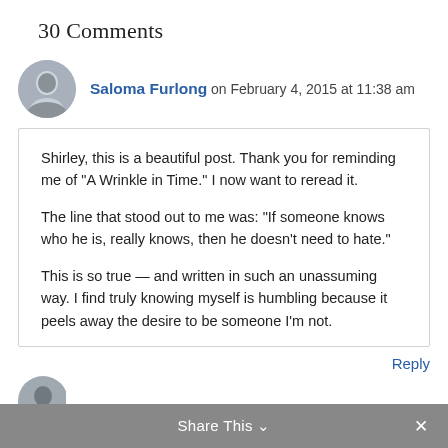30 Comments
Saloma Furlong on February 4, 2015 at 11:38 am
Shirley, this is a beautiful post. Thank you for reminding me of "A Wrinkle in Time." I now want to reread it.

The line that stood out to me was: "If someone knows who he is, really knows, then he doesn't need to hate."

This is so true — and written in such an unassuming way. I find truly knowing myself is humbling because it peels away the desire to be someone I'm not.
Reply
Share This ∨  ×